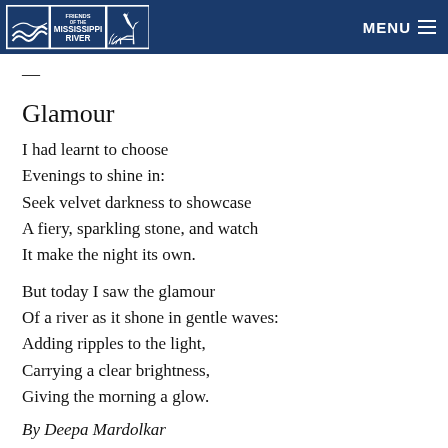Friends of the Mississippi River | MENU
—
Glamour
I had learnt to choose
Evenings to shine in:
Seek velvet darkness to showcase
A fiery, sparkling stone, and watch
It make the night its own.
But today I saw the glamour
Of a river as it shone in gentle waves:
Adding ripples to the light,
Carrying a clear brightness,
Giving the morning a glow.
By Deepa Mardolkar